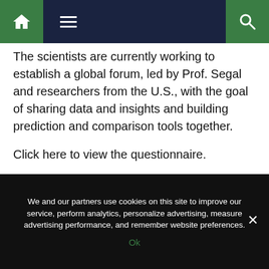[Figure (screenshot): Navigation bar with home icon (green), hamburger menu icon (white on dark navy), and search icon (green)]
The scientists are currently working to establish a global forum, led by Prof. Segal and researchers from the U.S., with the goal of sharing data and insights and building prediction and comparison tools together.
Click here to view the questionnaire.
Source: Read Full Article
Related posts:
1. Ebola fears in SWEDEN as patient is rushed to hospital
We and our partners use cookies on this site to improve our service, perform analytics, personalize advertising, measure advertising performance, and remember website preferences.
Ok